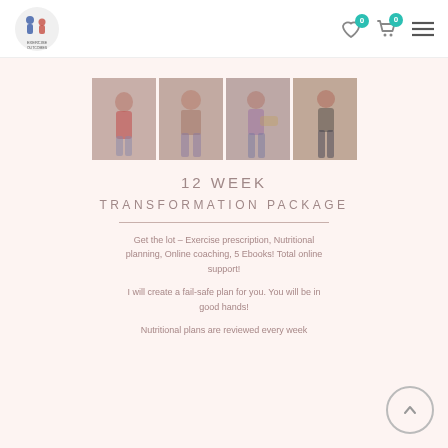Navigation bar with logo, wishlist (0), cart (0), and menu icons
[Figure (photo): Four before-and-after transformation photos of fitness clients arranged in a horizontal strip]
12 WEEK
TRANSFORMATION PACKAGE
Get the lot – Exercise prescription, Nutritional planning, Online coaching, 5 Ebooks! Total online support!
I will create a fail-safe plan for you. You will be in good hands!
Nutritional plans are reviewed every week